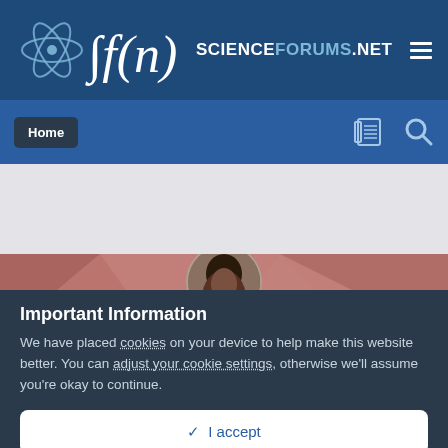∫f(n) SCIENCEFORUMS.NET
[Figure (screenshot): Navigation bar with Home button, newspaper icon, and search icon on blue background]
[Figure (photo): Banner image with rosy/mauve background showing a circular portrait of a person with decorative geometric polygon shapes]
Important Information
We have placed cookies on your device to help make this website better. You can adjust your cookie settings, otherwise we'll assume you're okay to continue.
✓  I accept